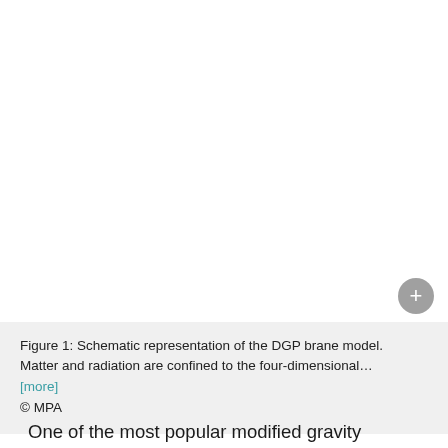[Figure (other): Schematic representation of the DGP brane model — upper half of page is blank white area where figure would appear]
Figure 1: Schematic representation of the DGP brane model. Matter and radiation are confined to the four-dimensional… [more] © MPA
One of the most popular modified gravity scenarios is that of "braneworlds". In these theories, the four-dimensional